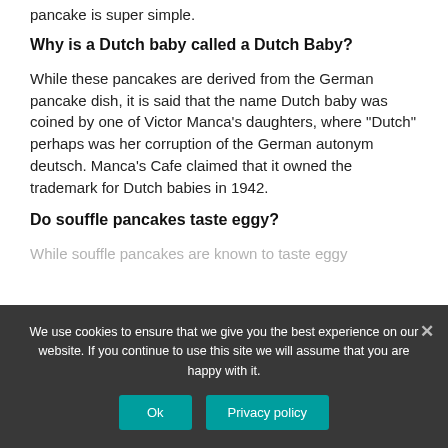pancake is super simple.
Why is a Dutch baby called a Dutch Baby?
While these pancakes are derived from the German pancake dish, it is said that the name Dutch baby was coined by one of Victor Manca’s daughters, where “Dutch” perhaps was her corruption of the German autonym deutsch. Manca’s Cafe claimed that it owned the trademark for Dutch babies in 1942.
Do souffle pancakes taste eggy?
We use cookies to ensure that we give you the best experience on our website. If you continue to use this site we will assume that you are happy with it.